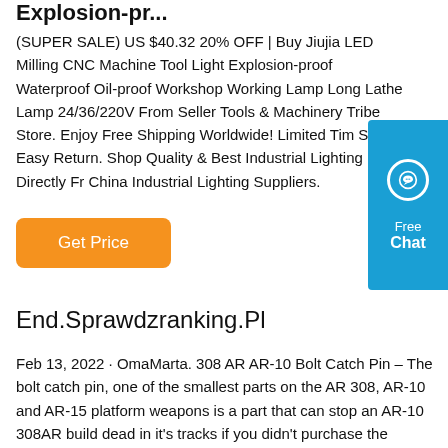Explosion-pr...
(SUPER SALE) US $40.32 20% OFF | Buy Jiujia LED Milling CNC Machine Tool Light Explosion-proof Waterproof Oil-proof Workshop Working Lamp Long Lathe Lamp 24/36/220V From Seller Tools & Machinery Tribe Store. Enjoy Free Shipping Worldwide! Limited Time Sale Easy Return. Shop Quality & Best Industrial Lighting Directly From China Industrial Lighting Suppliers.
[Figure (other): Blue chat widget with speech bubble icon, 'Free Chat' text]
Get Price
End.Sprawdzranking.Pl
Feb 13, 2022 · OmaMarta. 308 AR AR-10 Bolt Catch Pin – The bolt catch pin, one of the smallest parts on the AR 308, AR-10 and AR-15 platform weapons is a part that can stop an AR-10 308AR build dead in it's tracks if you didn't purchase the correct one or the correct LOWER PART S KIT for your STRIPPED LOWER RECEIVER. to 2-1 Online Leading Giant